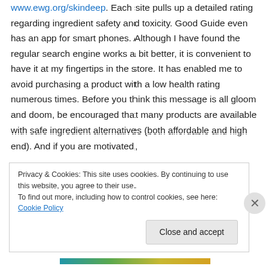Good Guide at www.goodguide.com and Skin Deep at www.ewg.org/skindeep. Each site pulls up a detailed rating regarding ingredient safety and toxicity. Good Guide even has an app for smart phones. Although I have found the regular search engine works a bit better, it is convenient to have it at my fingertips in the store. It has enabled me to avoid purchasing a product with a low health rating numerous times. Before you think this message is all gloom and doom, be encouraged that many products are available with safe ingredient alternatives (both affordable and high end). And if you are motivated,
Privacy & Cookies: This site uses cookies. By continuing to use this website, you agree to their use.
To find out more, including how to control cookies, see here: Cookie Policy